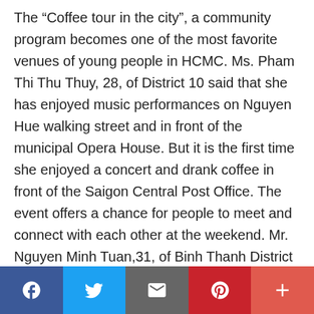The “Coffee tour in the city”, a community program becomes one of the most favorite venues of young people in HCMC. Ms. Pham Thi Thu Thuy, 28, of District 10 said that she has enjoyed music performances on Nguyen Hue walking street and in front of the municipal Opera House. But it is the first time she enjoyed a concert and drank coffee in front of the Saigon Central Post Office. The event offers a chance for people to meet and connect with each other at the weekend. Mr. Nguyen Minh Tuan,31, of Binh Thanh District said that after one year of the Covid-19 pandemic, many activities have been allowed to resume while residents return to normal life. It was the first time that he and his